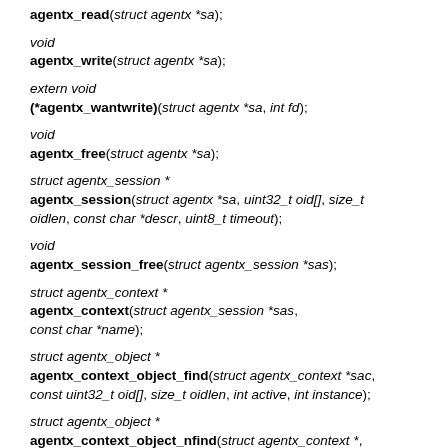agentx_read(struct agentx *sa);
void
agentx_write(struct agentx *sa);
extern void
(*agentx_wantwrite)(struct agentx *sa, int fd);
void
agentx_free(struct agentx *sa);
struct agentx_session *
agentx_session(struct agentx *sa, uint32_t oid[], size_t oidlen, const char *descr, uint8_t timeout);
void
agentx_session_free(struct agentx_session *sas);
struct agentx_context *
agentx_context(struct agentx_session *sas,
const char *name);
struct agentx_object *
agentx_context_object_find(struct agentx_context *sac,
const uint32_t oid[], size_t oidlen, int active, int instance);
struct agentx_object *
agentx_context_object_nfind(struct agentx_context *,
const uint32_t oid[], size_t oidlen, int active, int inclusive);